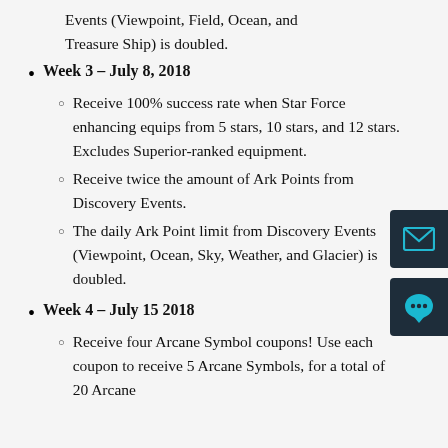Events (Viewpoint, Field, Ocean, and Treasure Ship) is doubled.
Week 3 – July 8, 2018
Receive 100% success rate when Star Force enhancing equips from 5 stars, 10 stars, and 12 stars. Excludes Superior-ranked equipment.
Receive twice the amount of Ark Points from Discovery Events.
The daily Ark Point limit from Discovery Events (Viewpoint, Ocean, Sky, Weather, and Glacier) is doubled.
Week 4 – July 15 2018
Receive four Arcane Symbol coupons! Use each coupon to receive 5 Arcane Symbols, for a total of 20 Arcane